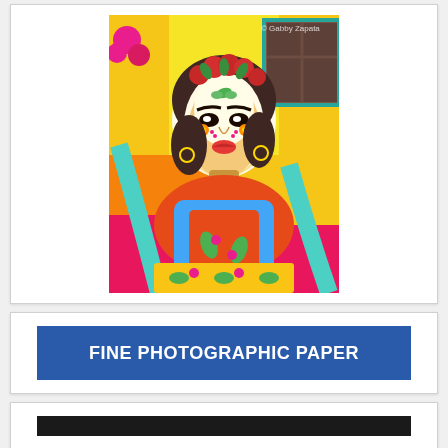[Figure (illustration): Colorful illustration of a woman with sugar skull (Día de los Muertos) face paint, wearing a floral crown of red flowers, seated in a chair. Background is vibrant yellow and orange with pink accents and a window. Copyright watermark reads '© Gabby Zapata'.]
FINE PHOTOGRAPHIC PAPER